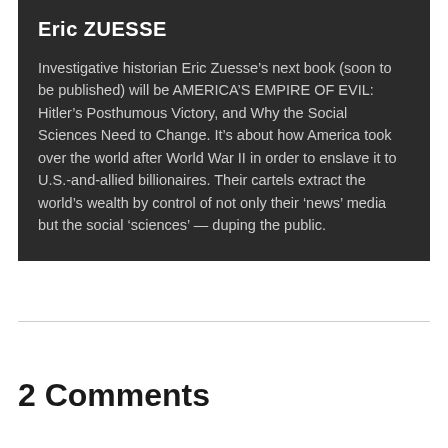Eric ZUESSE
Investigative historian Eric Zuesse’s next book (soon to be published) will be AMERICA’S EMPIRE OF EVIL: Hitler’s Posthumous Victory, and Why the Social Sciences Need to Change. It’s about how America took over the world after World War II in order to enslave it to U.S.-and-allied billionaires. Their cartels extract the world’s wealth by control of not only their ‘news’ media but the social ‘sciences’ — duping the public.
2 Comments